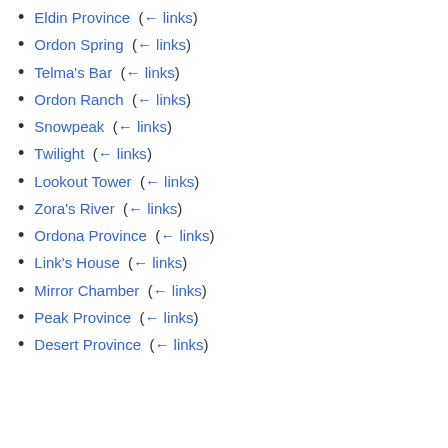Eldin Province  (← links)
Ordon Spring  (← links)
Telma's Bar  (← links)
Ordon Ranch  (← links)
Snowpeak  (← links)
Twilight  (← links)
Lookout Tower  (← links)
Zora's River  (← links)
Ordona Province  (← links)
Link's House  (← links)
Mirror Chamber  (← links)
Peak Province  (← links)
Desert Province  (← links)